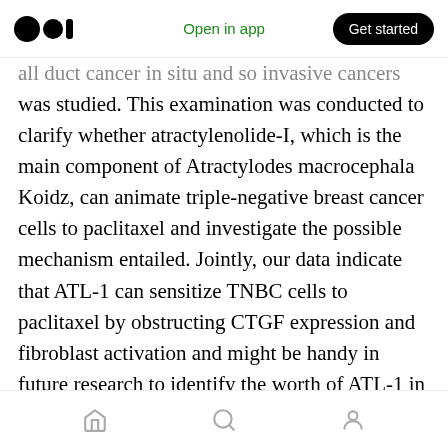Medium logo | Open in app | Get started
all duct cancer in situ and so invasive cancers was studied. This examination was conducted to clarify whether atractylenolide-I, which is the main component of Atractylodes macrocephala Koidz, can animate triple-negative breast cancer cells to paclitaxel and investigate the possible mechanism entailed. Jointly, our data indicate that ATL-1 can sensitize TNBC cells to paclitaxel by obstructing CTGF expression and fibroblast activation and might be handy in future research to identify the worth of ATL-1 in the professional setting. Intro: Breast cancer [reaction icons] he most common cancer. Women breast cancer patients of stage II
Home | Search | Profile